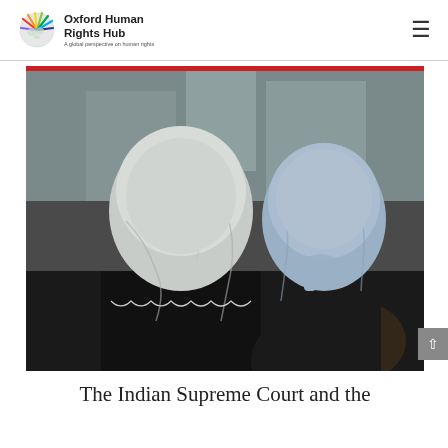Oxford Human Rights Hub — A global perspective on human rights
[Figure (photo): Two women wearing hijabs seen from behind, one in white and one in light blue/grey, standing in an outdoor urban setting with blurred background]
The Indian Supreme Court and the